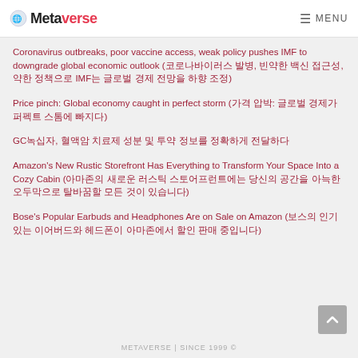Metaverse  MENU
Coronavirus outbreaks, poor vaccine access, weak policy pushes IMF to downgrade global economic outlook (코로나바이러스 발병, 빈약한 백신 접근성, 약한 정책으로 IMF는 글로벌 경제 전망을 하향 조정)
Price pinch: Global economy caught in perfect storm (가격 압박: 글로벌 경제가 퍼펙트 스톰에 빠지다)
GC녹십자, 혈액암 치료제 성분 및 투약 정보를 정확하게 전달하다 (GC녹십자, 혈액암 치료제 관련 정보 제공)
Amazon's New Rustic Storefront Has Everything to Transform Your Space Into a Cozy Cabin (아마존의 새로운 러스틱 스토어프런트에는 당신의 공간을 아늑한 오두막으로 탈바꿈할 모든 것이 있습니다)
Bose's Popular Earbuds and Headphones Are on Sale on Amazon (보스의 인기 있는 이어버드와 헤드폰이 아마존에서 할인 판매 중입니다)
METAVERSE | SINCE 1999 ©